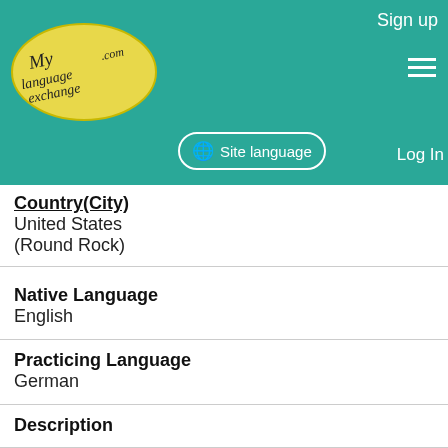MyLanguageExchange.com — Sign up | Site language | Log In
Country(City)
United States
(Round Rock)
Native Language
English
Practicing Language
German
Description
My name is Karthik Natarajan. I live in suburban Austin, TX. I would love to meet up with a native German speaker. My interests include - travel, weighlifting and fitness, hiking, reading, cooking and most of all, spending time with my wonderful w.....
Name